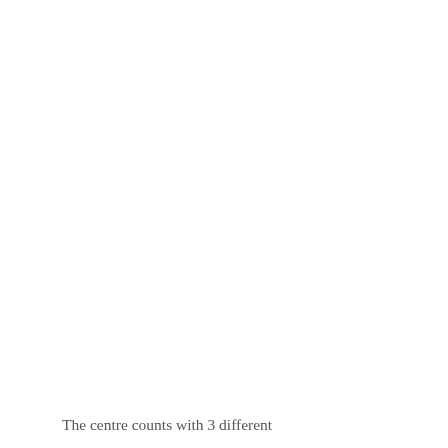The centre counts with 3 different